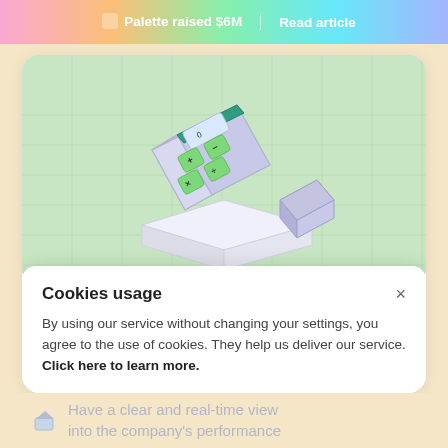🟥 Palette raised $6M | Read article
[Figure (illustration): Isometric illustration of a calculator with green buttons (+, -, ×, ÷) and a small house/box on a white platform, on a light green grid background]
Cookies usage
By using our service without changing your settings, you agree to the use of cookies. They help us deliver our service. Click here to learn more.
Have a clear and real-time view into the company's performance